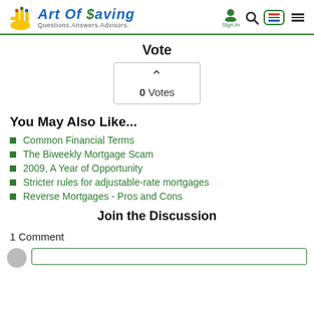Art Of $aving — Questions.Answers.Advisors.
Vote
[Figure (other): Vote widget showing upvote caret and 0 Votes count inside a bordered box]
You May Also Like...
Common Financial Terms
The Biweekly Mortgage Scam
2009, A Year of Opportunity
Stricter rules for adjustable-rate mortgages
Reverse Mortgages - Pros and Cons
Join the Discussion
1 Comment